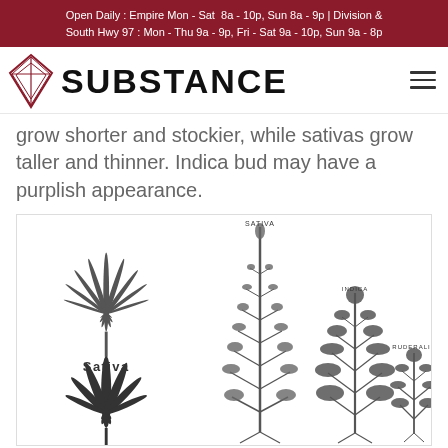Open Daily : Empire Mon - Sat 8a - 10p, Sun 8a - 9p | Division & South Hwy 97 : Mon - Thu 9a - 9p, Fri - Sat 9a - 10p, Sun 9a - 8p
[Figure (logo): Substance dispensary logo with diamond/leaf geometric icon and the word SUBSTANCE in bold uppercase]
grow shorter and stockier, while sativas grow taller and thinner. Indica bud may have a purplish appearance.
[Figure (illustration): Botanical illustration showing cannabis plant types: Sativa leaf (narrow, tall), Indica leaf (wide, short), and three plant silhouettes labeled Sativa (tallest), Indica (medium), Ruderalis (shortest)]